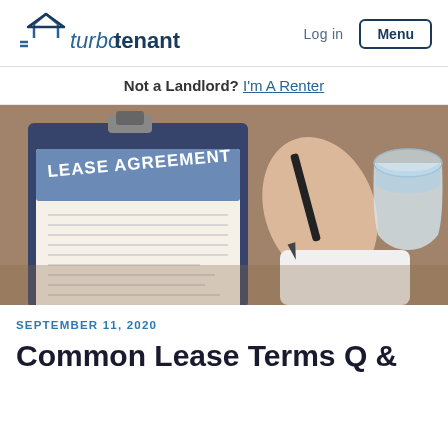[Figure (logo): TurboTenant logo with house icon and stylized text]
Log in   Menu
Not a Landlord? I'm A Renter
[Figure (photo): Person signing a lease agreement on a clipboard on a wooden table, with a glass of water nearby]
SEPTEMBER 11, 2020
Common Lease Terms Q &